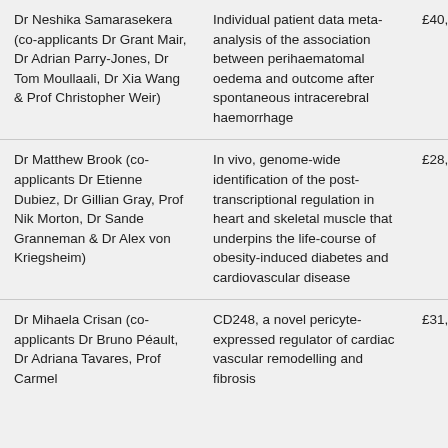| Applicant | Project | Award |
| --- | --- | --- |
| Dr Neshika Samarasekera (co-applicants Dr Grant Mair, Dr Adrian Parry-Jones, Dr Tom Moullaali, Dr Xia Wang & Prof Christopher Weir) | Individual patient data meta-analysis of the association between perihaematomal oedema and outcome after spontaneous intracerebral haemorrhage | £40,140.03 |
| Dr Matthew Brook (co-applicants Dr Etienne Dubiez, Dr Gillian Gray, Prof Nik Morton, Dr Sande Granneman & Dr Alex von Kriegsheim) | In vivo, genome-wide identification of the post-transcriptional regulation in heart and skeletal muscle that underpins the life-course of obesity-induced diabetes and cardiovascular disease | £28,632.85 |
| Dr Mihaela Crisan (co-applicants Dr Bruno Péault, Dr Adriana Tavares, Prof Carmel | CD248, a novel pericyte-expressed regulator of cardiac vascular remodelling and fibrosis | £31,500.00 |